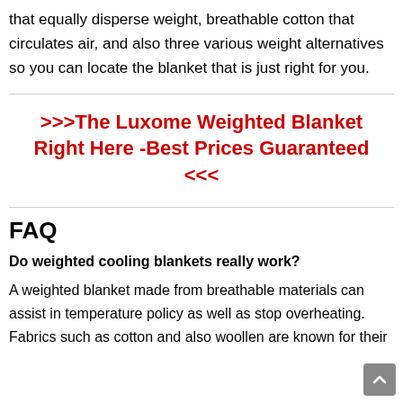that equally disperse weight, breathable cotton that circulates air, and also three various weight alternatives so you can locate the blanket that is just right for you.
>>>The Luxome Weighted Blanket Right Here -Best Prices Guaranteed <<<
FAQ
Do weighted cooling blankets really work?
A weighted blanket made from breathable materials can assist in temperature policy as well as stop overheating. Fabrics such as cotton and also woollen are known for their